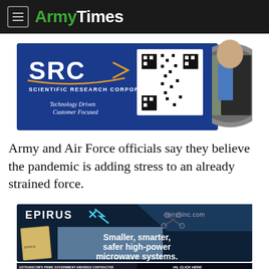ArmyTimes
[Figure (illustration): SRC Scientific Research Corporation advertisement banner with logo, QR code, and military/civilian person image. Text: Technology Driven Customer Focused]
Army and Air Force officials say they believe the pandemic is adding stress to an already strained force.
[Figure (illustration): EPIRUS advertisement banner with drone and device image. Text: Smaller, smarter, safer high-power microwave systems. epirusinc.com]
[Figure (illustration): Bottom advertisement bar: USTRANSCOM'S PRIME GOVERNMENT-AWARDED CONTRACTOR TO HANDLE YOUR POV MOVE, SHIPPING & STORAGE FOR 4 YEARS. IAL CLICK HERE BEAT THE SUMMER SURGE]